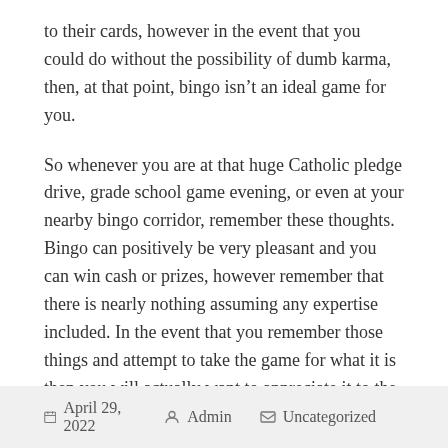to their cards, however in the event that you could do without the possibility of dumb karma, then, at that point, bingo isn't an ideal game for you.
So whenever you are at that huge Catholic pledge drive, grade school game evening, or even at your nearby bingo corridor, remember these thoughts. Bingo can positively be very pleasant and you can win cash or prizes, however remember that there is nearly nothing assuming any expertise included. In the event that you remember those things and attempt to take the game for what it is then you will actually want to appreciate it to the fullest sum conceivable.
April 29, 2022   Admin   Uncategorized